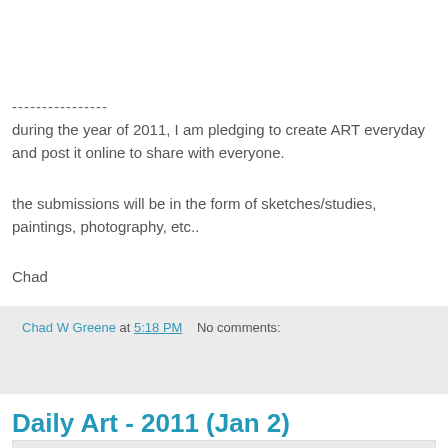----------------
during the year of 2011, I am pledging to create ART everyday and post it online to share with everyone.
the submissions will be in the form of sketches/studies, paintings, photography, etc..
Chad
Chad W Greene at 5:18 PM   No comments:
Share
Daily Art - 2011 (Jan 2)